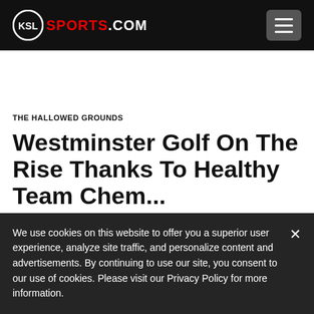KSL SPORTS.COM
THE HALLOWED GROUNDS
Westminster Golf On The Rise Thanks To Healthy Team Chem...
We use cookies on this website to offer you a superior user experience, analyze site traffic, and personalize content and advertisements. By continuing to use our site, you consent to our use of cookies. Please visit our Privacy Policy for more information.